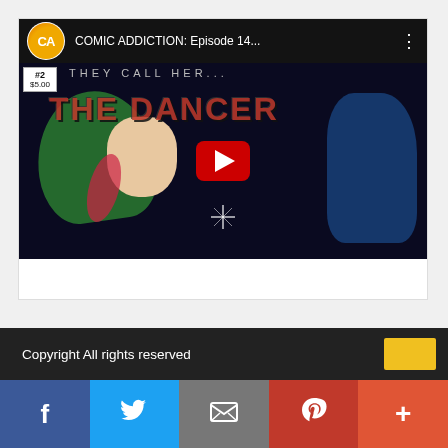[Figure (screenshot): YouTube video thumbnail for 'COMIC ADDICTION: Episode 14...' showing a comic book cover titled 'THE DANCER' with a character in a green hood and red/pink hair streaks, plus a blue-clad figure. Includes YouTube play button overlay and Comic Addiction channel logo.]
Copyright All rights reserved
Social sharing bar with Facebook, Twitter, Email, Pinterest, and More buttons